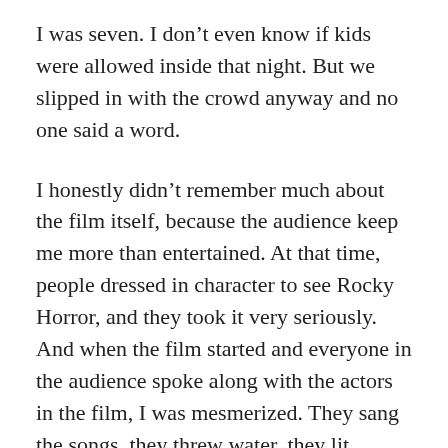I was seven. I don't even know if kids were allowed inside that night. But we slipped in with the crowd anyway and no one said a word.
I honestly didn't remember much about the film itself, because the audience keep me more than entertained. At that time, people dressed in character to see Rocky Horror, and they took it very seriously. And when the film started and everyone in the audience spoke along with the actors in the film, I was mesmerized. They sang the songs, they threw water, they lit candles and cigarette lighters during certain scenes. By the time we left, I was soaked and covered with popcorn.
Of course when my mother found out my sister had taken me there, my sister was seriously grounded. I didn't understand why, though. To this day, I don't remember anything obscene about the film. Different, yes. But not